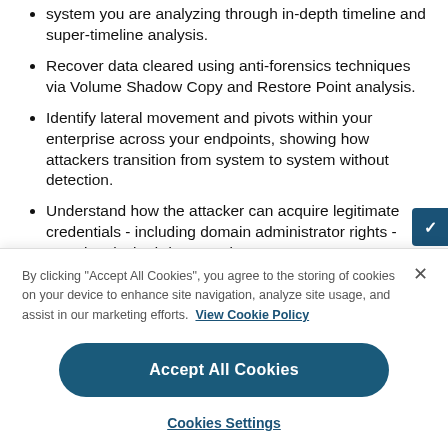system you are analyzing through in-depth timeline and super-timeline analysis.
Recover data cleared using anti-forensics techniques via Volume Shadow Copy and Restore Point analysis.
Identify lateral movement and pivots within your enterprise across your endpoints, showing how attackers transition from system to system without detection.
Understand how the attacker can acquire legitimate credentials - including domain administrator rights - even in a locked-down environment.
By clicking "Accept All Cookies", you agree to the storing of cookies on your device to enhance site navigation, analyze site usage, and assist in our marketing efforts. View Cookie Policy
Accept All Cookies
Cookies Settings